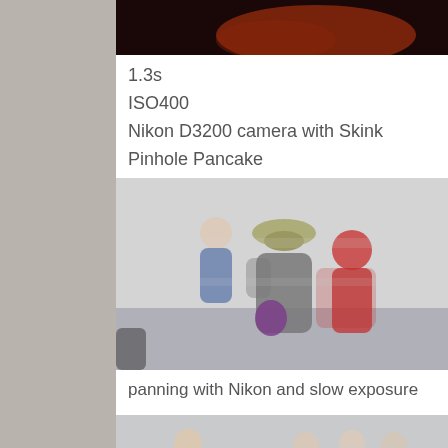[Figure (photo): Dark blurry photo with red/orange glow at top of page (partial, cropped)]
1.3s
ISO400
Nikon D3200 camera with Skink Pinhole Pancake
[Figure (photo): Blurry panning photo of people standing outdoors — person in grey jacket with purple bag and wide-brimmed hat, person in red jacket, person in blue jacket; motion blur effect]
panning with Nikon and slow exposure
[Figure (photo): Blurry panning photo of people walking — person in black hoodie on left, group of three blurred figures on right; motion blur effect against grey background]